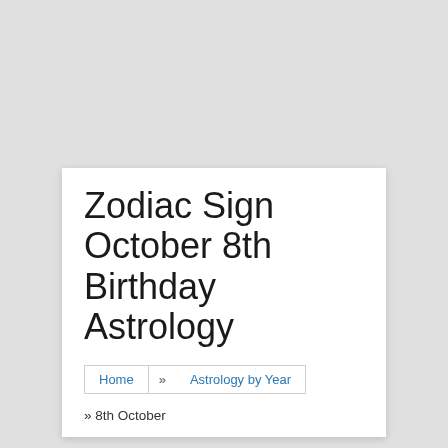Zodiac Sign October 8th Birthday Astrology
Home » Astrology by Year
» 8th October